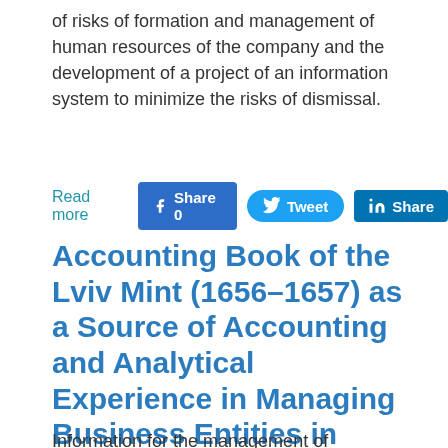of risks of formation and management of human resources of the company and the development of a project of an information system to minimize the risks of dismissal.
Read more
Share 0
Tweet
Share
Accounting Book of the Lviv Mint (1656–1657) as a Source of Accounting and Analytical Experience in Managing Business Entities in Emergencies
Information for the management of economic